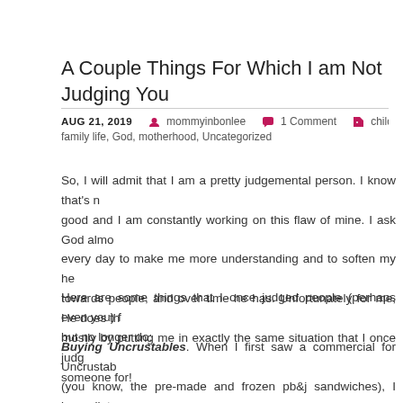A Couple Things For Which I am Not Judging You
AUG 21, 2019   mommyinbonlee   1 Comment   childcare, family life, God, motherhood, Uncategorized
So, I will admit that I am a pretty judgemental person. I know that's not good and I am constantly working on this flaw of mine. I ask God almost every day to make me more understanding and to soften my heart towards people, and over time he has. Unfortunately for me, He does this mostly by putting me in exactly the same situation that I once judged someone for!
Here are some things that I once judged people (perhaps even you) for, but no longer do:
Buying Uncrustables. When I first saw a commercial for Uncrustables (you know, the pre-made and frozen pb&j sandwiches), I immediately commented to whoever was with me, "How lazy is that? When I have kids, I will NEVER buy those. I mean, how much trouble is it to make